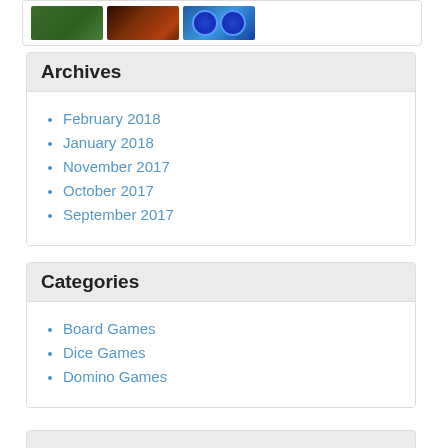[Figure (photo): Row of three video game thumbnail images on a white card with border]
Archives
February 2018
January 2018
November 2017
October 2017
September 2017
Categories
Board Games
Dice Games
Domino Games